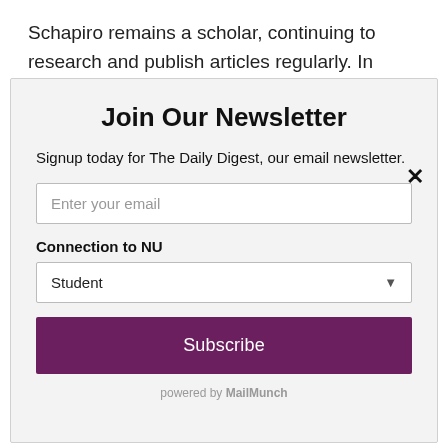Schapiro remains a scholar, continuing to research and publish articles regularly. In continuing to teach and write, Schapiro...
Join Our Newsletter
Signup today for The Daily Digest, our email newsletter.
Enter your email
Connection to NU
Student
Subscribe
powered by MailMunch